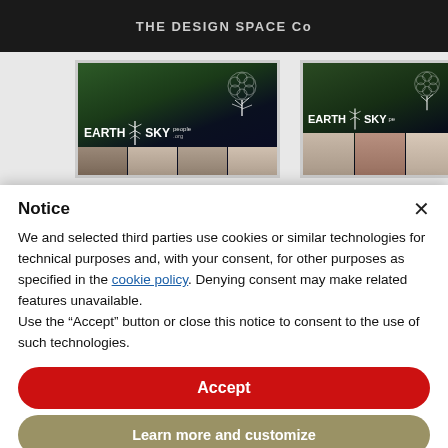THE DESIGN SPACE Co
[Figure (screenshot): Two thumbnail images of Earth Sky People Radio website, showing forest and galaxy background with tree logo and Earth Sky Radio branding]
Notice
We and selected third parties use cookies or similar technologies for technical purposes and, with your consent, for other purposes as specified in the cookie policy. Denying consent may make related features unavailable.
Use the "Accept" button or close this notice to consent to the use of such technologies.
Accept
Learn more and customize